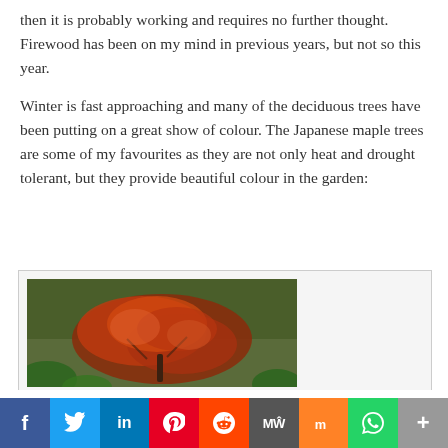then it is probably working and requires no further thought. Firewood has been on my mind in previous years, but not so this year.
Winter is fast approaching and many of the deciduous trees have been putting on a great show of colour. The Japanese maple trees are some of my favourites as they are not only heat and drought tolerant, but they provide beautiful colour in the garden:
[Figure (photo): A Japanese maple tree with red/orange autumn foliage in a garden setting with green background grass and plants]
[Figure (infographic): Social media sharing bar with buttons for Facebook, Twitter, LinkedIn, Pinterest, Reddit, MeWe, Mix, WhatsApp, and More]